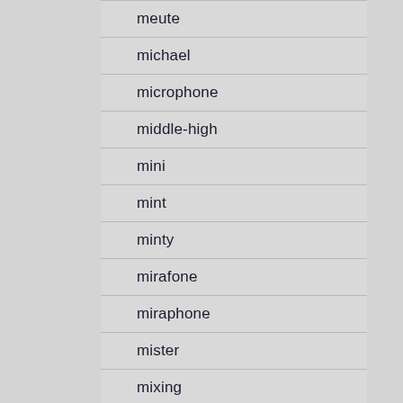meute
michael
microphone
middle-high
mini
mint
minty
mirafone
miraphone
mister
mixing